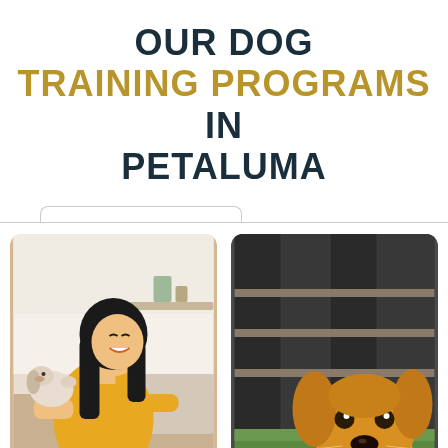OUR DOG TRAINING PROGRAMS IN PETALUMA
[Figure (photo): Woman in yellow shirt smiling and playing with a small dog indoors]
[Figure (photo): Close-up of a dog's face (appears to be a golden/tan colored dog) looking up, outdoors against a dark fence background]